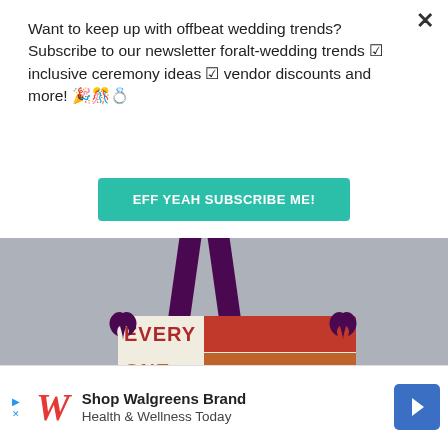Want to keep up with offbeat wedding trends?Subscribe to our newsletter for​alt-wedding trends ✓ inclusive ceremony ideas ✓ vendor discounts and more! 🎉🎊💍
EFF YEAH SUBSCRIBE ME!
[Figure (photo): A hanging sign with colorful horizontal bars reading EVERY ONE IS, suspended by a dark purple ribbon, with small bird silhouettes on the sides. Gray background.]
[Figure (infographic): Walgreens advertisement banner: Shop Walgreens Brand Health & Wellness Today, with Walgreens logo and blue arrow button]